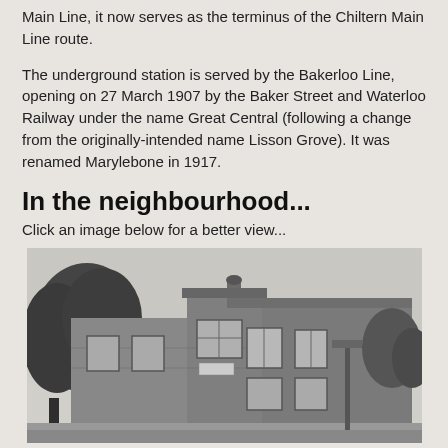Main Line, it now serves as the terminus of the Chiltern Main Line route.
The underground station is served by the Bakerloo Line, opening on 27 March 1907 by the Baker Street and Waterloo Railway under the name Great Central (following a change from the originally-intended name Lisson Grove). It was renamed Marylebone in 1917.
In the neighbourhood...
Click an image below for a better view...
[Figure (photo): Black and white photograph of a Victorian/Edwardian brick corner building with multiple windows, trees to the left, and a street lamp visible. The building appears to be 2-3 storeys tall with ornate architectural details.]